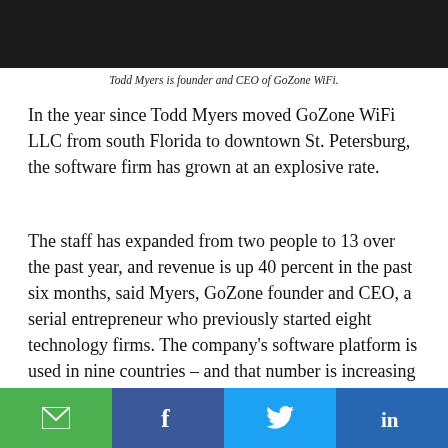[Figure (photo): Top portion of a headshot photo of Todd Myers, shown cropped with dark background]
Todd Myers is founder and CEO of GoZone WiFi.
In the year since Todd Myers moved GoZone WiFi LLC from south Florida to downtown St. Petersburg, the software firm has grown at an explosive rate.
The staff has expanded from two people to 13 over the past year, and revenue is up 40 percent in the past six months, said Myers, GoZone founder and CEO, a serial entrepreneur who previously started eight technology firms. The company's software platform is used in nine countries – and that number is increasing as well, he said.
[Figure (infographic): Social share buttons: Email (green), Facebook (blue), Twitter (light blue), LinkedIn (dark blue)]